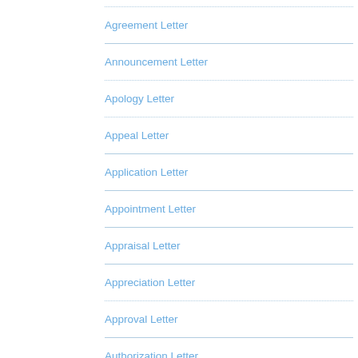Agreement Letter
Announcement Letter
Apology Letter
Appeal Letter
Application Letter
Appointment Letter
Appraisal Letter
Appreciation Letter
Approval Letter
Authorization Letter